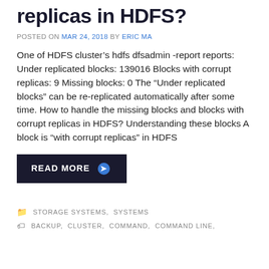replicas in HDFS?
POSTED ON MAR 24, 2018 BY ERIC MA
One of HDFS cluster’s hdfs dfsadmin -report reports: Under replicated blocks: 139016 Blocks with corrupt replicas: 9 Missing blocks: 0 The “Under replicated blocks” can be re-replicated automatically after some time. How to handle the missing blocks and blocks with corrupt replicas in HDFS? Understanding these blocks A block is “with corrupt replicas” in HDFS
READ MORE →
STORAGE SYSTEMS, SYSTEMS
BACKUP, CLUSTER, COMMAND, COMMAND LINE,